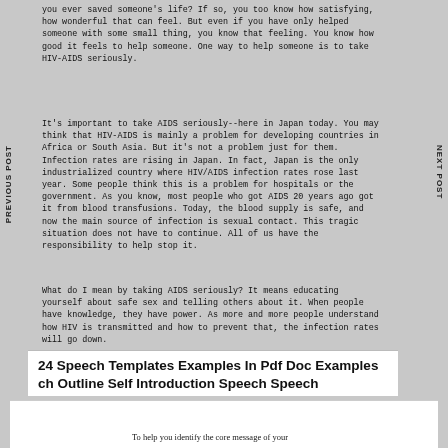you ever saved someone's life? If so, you too know how satisfying, how wonderful that can feel. But even if you have only helped someone with some small thing, you know that feeling. You know how good it feels to help someone. One way to help someone is to take HIV-AIDS seriously.
It's important to take AIDS seriously--here in Japan today. You may think that HIV-AIDS is mainly a problem for developing countries in Africa or South Asia. But it's not a problem just for them. Infection rates are rising in Japan. In fact, Japan is the only industrialized country where HIV/AIDS infection rates rose last year. Some people think this is a problem for hospitals or the government. As you know, most people who got AIDS 20 years ago got it from blood transfusions. Today, the blood supply is safe, and now the main source of infection is sexual contact. This tragic situation does not have to continue. All of us have the responsibility to help stop it.
What do I mean by taking AIDS seriously? It means educating yourself about safe sex and telling others about it. When people have knowledge, they have power. As more and more people understand how HIV is transmitted and how to prevent that, the infection rates will go down.
PREVIOUS POST
NEXT POST
24 Speech Templates Examples In Pdf Doc Examples ch Outline Self Introduction Speech Speech
To help you identify the core message of your